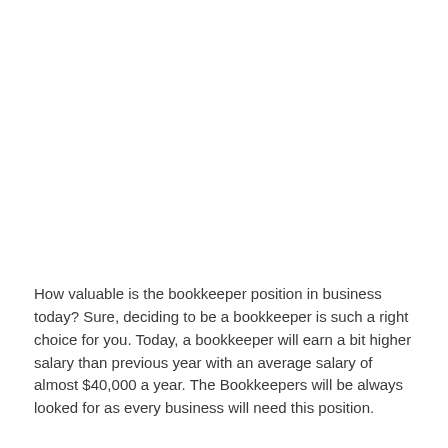How valuable is the bookkeeper position in business today? Sure, deciding to be a bookkeeper is such a right choice for you. Today, a bookkeeper will earn a bit higher salary than previous year with an average salary of almost $40,000 a year. The Bookkeepers will be always looked for as every business will need this position.